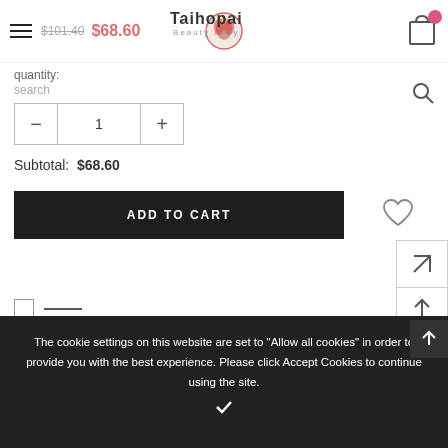[Figure (screenshot): E-commerce product page for Taihopai Beauty Lady showing navigation header with hamburger menu, logo, cart icon, product price ($101.40 struck through, $68.60 new price), quantity selector, subtotal, Add to Cart button, wishlist heart icon, sidebar navigation icons, and cookie consent banner.]
$101.40  $68.60
quantity:
search
Subtotal:  $68.60
ADD TO CART
The cookie settings on this website are set to "Allow all cookies" in order to provide you with the best experience. Please click Accept Cookies to continue using the site.